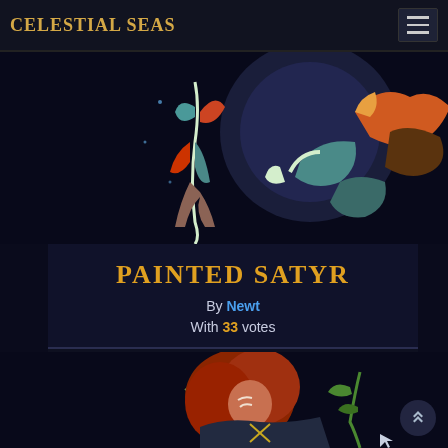CELESTIAL SEAS
[Figure (illustration): Colorful illustrated fantasy characters — a figure with orange and blue hair in brown armor leaping, with teal and coral colors on dark background]
PAINTED SATYR
By Newt
With 33 votes
[Figure (illustration): Illustrated character with long red/orange hair and antlers, wearing dark clothing with green plant elements, on dark background]